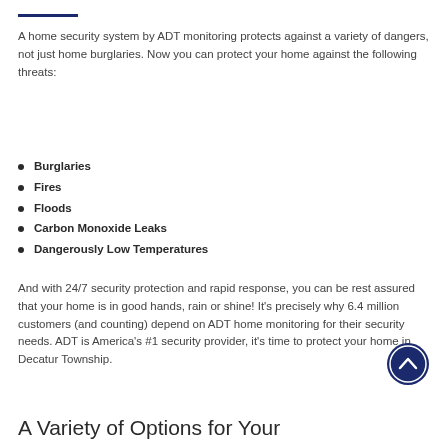A home security system by ADT monitoring protects against a variety of dangers, not just home burglaries. Now you can protect your home against the following threats:
Burglaries
Fires
Floods
Carbon Monoxide Leaks
Dangerously Low Temperatures
And with 24/7 security protection and rapid response, you can be rest assured that your home is in good hands, rain or shine! It's precisely why 6.4 million customers (and counting) depend on ADT home monitoring for their security needs. ADT is America's #1 security provider, it's time to protect your home in Decatur Township.
A Variety of Options for Your